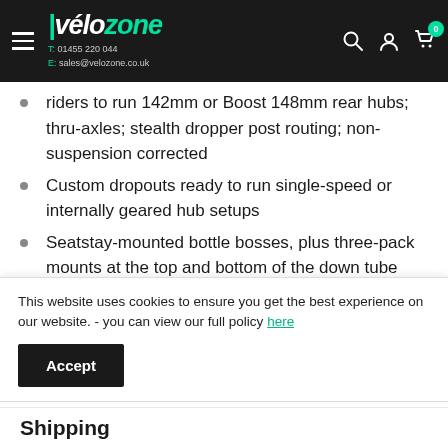vélozone | T: 01455 220 044 | E: sales@velozone.co.uk
riders to run 142mm or Boost 148mm rear hubs; thru-axles; stealth dropper post routing; non-suspension corrected
Custom dropouts ready to run single-speed or internally geared hub setups
Seatstay-mounted bottle bosses, plus three-pack mounts at the top and bottom of the down tube
Clearance for 27.5 x 2.8" or 29 x 2.1" tyres (with or
This website uses cookies to ensure you get the best experience on our website. - you can view our full policy here
Shipping